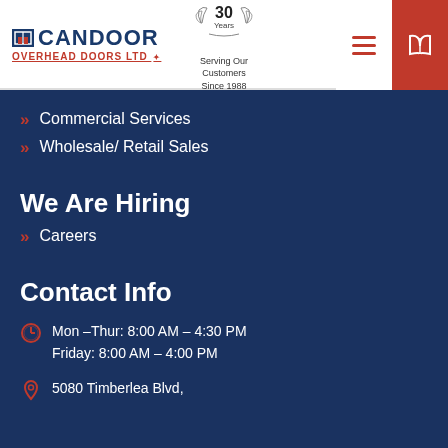[Figure (logo): Candoor Overhead Doors Ltd logo with Canadian flag symbol and 30 Years badge]
Commercial Services
Wholesale/ Retail Sales
We Are Hiring
Careers
Contact Info
Mon -Thur: 8:00 AM - 4:30 PM
Friday: 8:00 AM - 4:00 PM
5080 Timberlea Blvd,